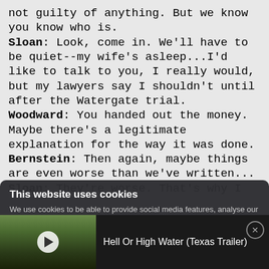not guilty of anything. But we know you know who is.
Sloan: Look, come in. We'll have to be quiet--my wife's asleep...I'd like to talk to you, I really would, but my lawyers say I shouldn't until after the Watergate trial.
Woodward: You handed out the money. Maybe there's a legitimate explanation for the way it was done.
Bernstein: Then again, maybe things are even worse than we've written...
Sloan: They're worse. That's why I
This website uses cookies
We use cookies to be able to provide social media features, analyse our traffic and behaviour of the visitors on our website and for
[Figure (screenshot): Video player overlay at bottom of screen showing a man outdoors (dark clothing, trees in background), with a play button. Title reads: Hell Or High Water (Texas Trailer)]